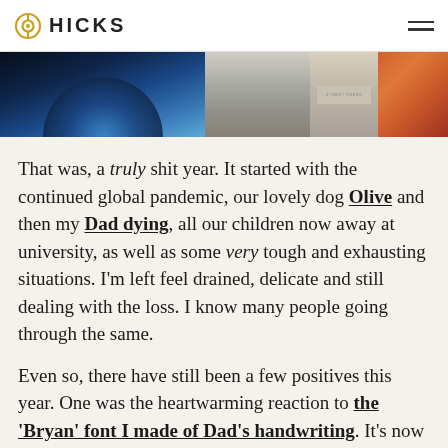HICKS
[Figure (photo): Hero image strip showing three panels: a dark blue abstract image on the left, a gray textured image in the middle, a beige/cream panel with text, and an orange-red animal figure on the right.]
That was, a truly shit year. It started with the continued global pandemic, our lovely dog Olive and then my Dad dying, all our children now away at university, as well as some very tough and exhausting situations. I'm left feel drained, delicate and still dealing with the loss. I know many people going through the same.
Even so, there have still been a few positives this year. One was the heartwarming reaction to the 'Bryan' font I made of Dad's handwriting. It's now included in the excellent iOS app Linea